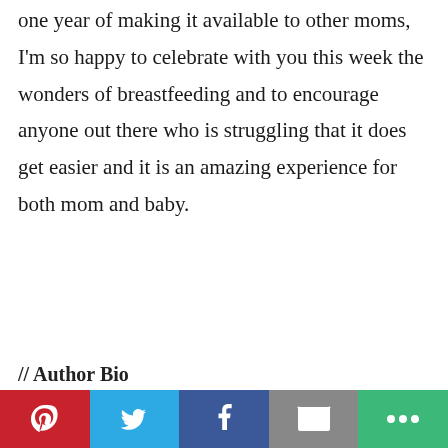one year of making it available to other moms, I'm so happy to celebrate with you this week the wonders of breastfeeding and to encourage anyone out there who is struggling that it does get easier and it is an amazing experience for both mom and baby.
// Author Bio
[Figure (other): Social sharing toolbar with Pinterest (red), Twitter (blue), Facebook (dark blue), Email (grey), and More (green) buttons]